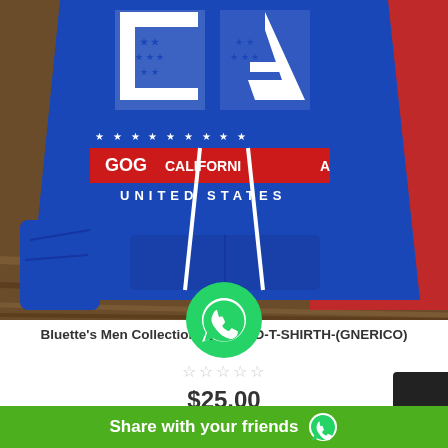[Figure (photo): A blue hoodie/sweatshirt with LA letters and stars, text reading GOG CALIFORNIA UNITED STATES, displayed on a mannequin. Red patterned fabric visible in background, wooden surface below.]
Bluette's Men Collection-SLEEVED-T-SHIRTH-(GNERICO)
☆☆☆☆☆
$25.00
Share with your friends